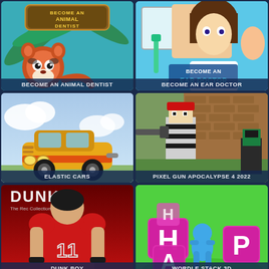[Figure (screenshot): Game thumbnail: Become an Animal Dentist - cartoon red panda with tropical background and game title sign]
BECOME AN ANIMAL DENTIST
[Figure (screenshot): Game thumbnail: Become an Ear Doctor - animated doctor character with ear treatment tools and blue background]
BECOME AN EAR DOCTOR
[Figure (screenshot): Game thumbnail: Elastic Cars - cartoon yellow/orange retro car on cloudy background]
ELASTIC CARS
[Figure (screenshot): Game thumbnail: Pixel Gun Apocalypse 4 2022 - blocky pixel-art prisoner character with gun in brick wall environment]
PIXEL GUN APOCALYPSE 4 2022
[Figure (screenshot): Game thumbnail: Dunk - manga-style basketball player in red number 11 jersey, DUNK logo at top]
DUNK BOY
[Figure (screenshot): Game thumbnail: Wordle Stack 3D - pink letter cubes spelling H-A-P with blue character on green background]
WORDLE STACK 3D